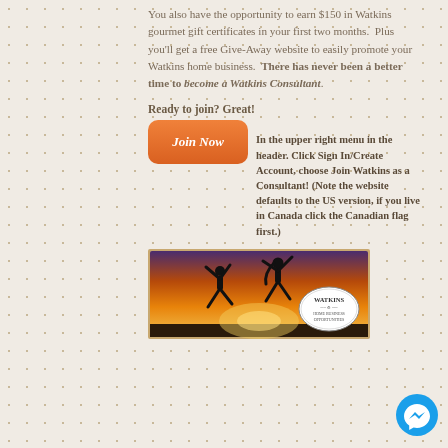You also have the opportunity to earn $150 in Watkins gourmet gift certificates in your first two months.  Plus you'll get a free Give-Away website to easily promote your Watkins home business.  There has never been a better time to become a Watkins Consultant.
Ready to join? Great!
[Figure (other): Orange 'Join Now' button]
In the upper right menu in the header. Click Sign In/Create Account, choose Join Watkins as a Consultant! (Note the website defaults to the US version, if you live in Canada click the Canadian flag first.)
[Figure (photo): Two silhouetted people jumping for joy against a sunset sky, with a Watkins Home Business Opportunities logo badge on the right side.]
[Figure (other): Facebook Messenger chat button (blue circle with white lightning bolt)]